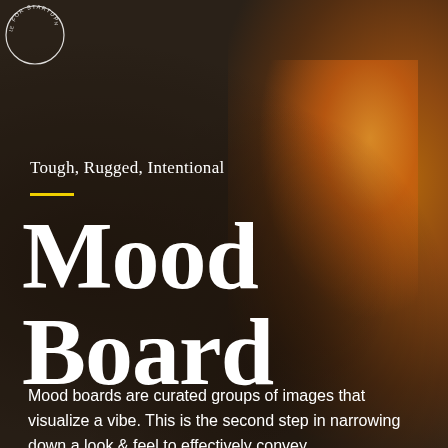[Figure (photo): Dark moody background photo of a campfire/burning wood with orange and amber flames on the right side, dark charred wood texture on the left, creating a rugged outdoor atmosphere]
[Figure (logo): Circular badge/stamp logo in top left corner with text around the rim reading 'FOR STARTUPS' and partial text at top]
Tough, Rugged, Intentional
Mood Board
Mood boards are curated groups of images that visualize a vibe. This is the second step in narrowing down a look & feel to effectively convey